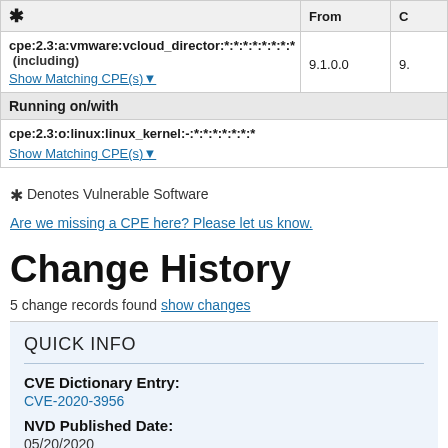| CPE | From | (col3) |
| --- | --- | --- |
| cpe:2.3:a:vmware:vcloud_director:*:*:*:*:*:*:*:* (including) | 9.1.0.0 | 9.x |
| Show Matching CPE(s) |  |  |
| Running on/with |  |  |
| cpe:2.3:o:linux:linux_kernel:-:*:*:*:*:*:*:* |  |  |
| Show Matching CPE(s) |  |  |
* Denotes Vulnerable Software
Are we missing a CPE here? Please let us know.
Change History
5 change records found show changes
QUICK INFO
CVE Dictionary Entry:
CVE-2020-3956
NVD Published Date:
05/20/2020